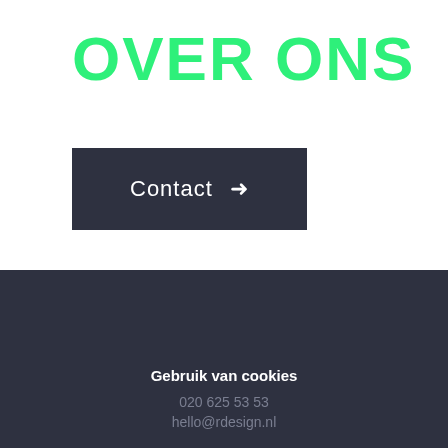OVER ONS
Contact →
Gebruik van cookies
020 625 53 53
hello@rdesign.nl